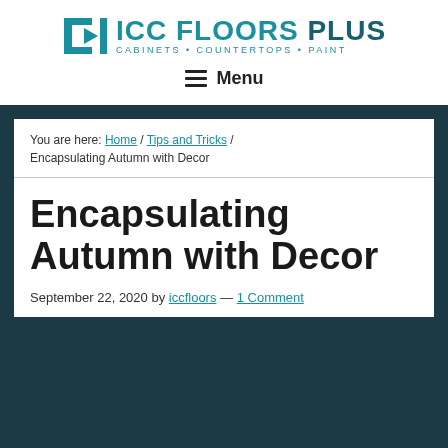[Figure (logo): ICC Floors Plus logo with teal icon and text. Tagline: CABINETS • COUNTERTOPS • PAINT]
≡  Menu
You are here: Home / Tips and Tricks / Encapsulating Autumn with Decor
Encapsulating Autumn with Decor
September 22, 2020 by iccfloors — 1 Comment